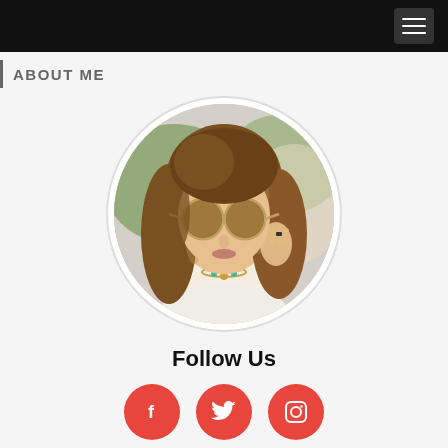ABOUT ME
[Figure (photo): Circular profile photo of a young woman with long brown hair wearing round sunglasses and a necklace]
Follow Us
[Figure (infographic): Three red circular social media icon buttons: Facebook (f), Twitter (bird), Instagram (camera)]